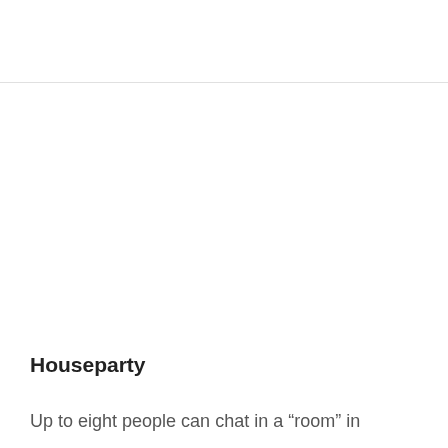Houseparty
Up to eight people can chat in a “room” in